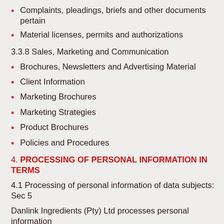Complaints, pleadings, briefs and other documents pertain
Material licenses, permits and authorizations
3.3.8 Sales, Marketing and Communication
Brochures, Newsletters and Advertising Material
Client Information
Marketing Brochures
Marketing Strategies
Product Brochures
Policies and Procedures
4. PROCESSING OF PERSONAL INFORMATION IN TERMS
4.1 Processing of personal information of data subjects: Sec 5
Danlink Ingredients (Pty) Ltd processes personal information